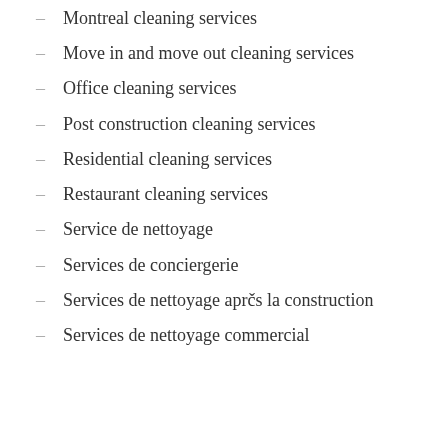Montreal cleaning services
Move in and move out cleaning services
Office cleaning services
Post construction cleaning services
Residential cleaning services
Restaurant cleaning services
Service de nettoyage
Services de conciergerie
Services de nettoyage aprčs la construction
Services de nettoyage commercial